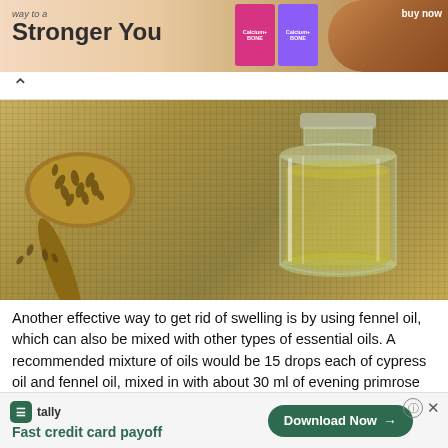[Figure (photo): Advertisement banner for Calcium+BONE supplements showing 'way to a Stronger You' text with product boxes and a chocolate-colored curved shape, with 'buy now' text.]
[Figure (photo): Photo of fennel seeds on a wooden spoon next to a glass jar filled with golden fennel oil, on a woven burlap background.]
Another effective way to get rid of swelling is by using fennel oil, which can also be mixed with other types of essential oils. A recommended mixture of oils would be 15 drops each of cypress oil and fennel oil, mixed in with about 30 ml of evening primrose oil. Massaging the affected swollen areas is a quick way to relieve the pain and discomfort and help the inflammation go away.
6. Geranium Oil
[Figure (photo): Partial view of the top of the next section image (Geranium Oil), showing a dark object at the top.]
[Figure (screenshot): Tally app advertisement banner at the bottom with green logo, 'Fast credit card payoff' tagline, and 'Download Now' button.]